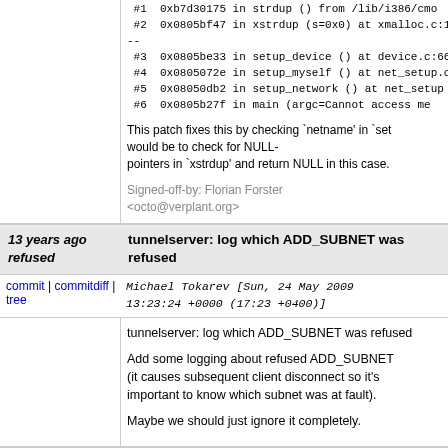#1  0xb7d30175 in strdup () from /lib/i386/libc
 #2  0x0805bf47 in xstrdup (s=0x0) at xmalloc.c:1
--
 #3  0x0805be33 in setup_device () at device.c:66
 #4  0x0805072e in setup_myself () at net_setup.c
 #5  0x08050db2 in setup_network () at net_setup
 #6  0x0805b27f in main (argc=Cannot access me
This patch fixes this by checking `netname' in `set would be to check for NULL-
pointers in `xstrdup' and return NULL in this case.
Signed-off-by: Florian Forster
<octo@verplant.org>
13 years ago refused    tunnelserver: log which ADD_SUBNET was refused
commit | commitdiff | tree    Michael Tokarev [Sun, 24 May 2009 13:23:24 +0000 (17:23 +0400)]
tunnelserver: log which ADD_SUBNET was refused

Add some logging about refused ADD_SUBNET (it causes subsequent client disconnect so it's important to know which subnet was at fault).

Maybe we should just ignore it completely.
13 years ago    Do not forward broadcast packets when